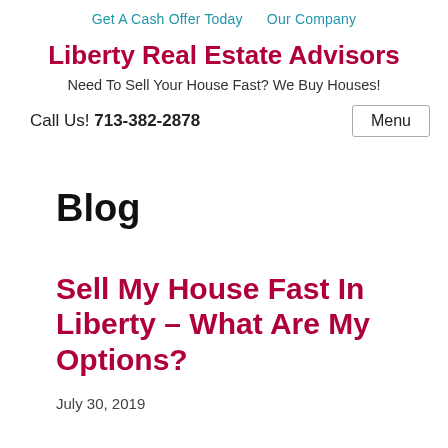Get A Cash Offer Today   Our Company
Liberty Real Estate Advisors
Need To Sell Your House Fast? We Buy Houses!
Call Us! 713-382-2878
Blog
Sell My House Fast In Liberty – What Are My Options?
July 30, 2019